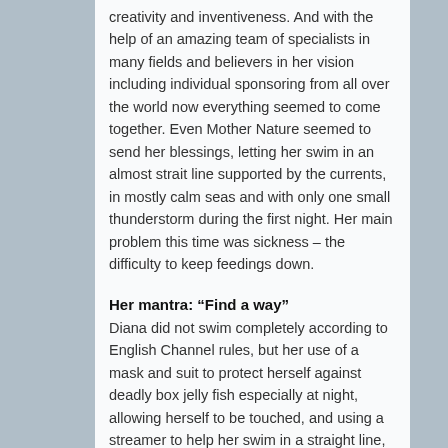creativity and inventiveness. And with the help of an amazing team of specialists in many fields and believers in her vision including individual sponsoring from all over the world now everything seemed to come together. Even Mother Nature seemed to send her blessings, letting her swim in an almost strait line supported by the currents, in mostly calm seas and with only one small thunderstorm during the first night. Her main problem this time was sickness – the difficulty to keep feedings down.
Her mantra: “Find a way”
Diana did not swim completely according to English Channel rules, but her use of a mask and suit to protect herself against deadly box jelly fish especially at night, allowing herself to be touched, and using a streamer to help her swim in a straight line, does not necessarily take away from her accomplishment, which included incredible amounts of solitary